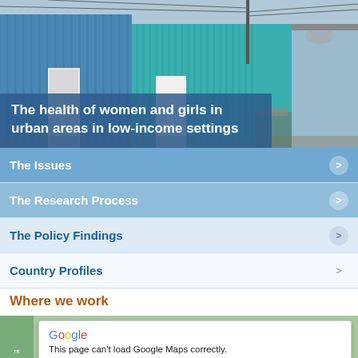[Figure (photo): Photo of informal settlement/shanty town with corrugated metal buildings in blue and teal colors, with power lines overhead. Title overlay reads: The health of women and girls in urban areas in low-income settings.]
The health of women and girls in urban areas in low-income settings
The Issues >
The Research Process >
The Policy Findings >
Country Profiles >
Where we work
[Figure (screenshot): Google Maps error dialog: 'This page can't load Google Maps correctly.' with 'Do you own this website?' link and 'OK' button. Shown over a map background.]